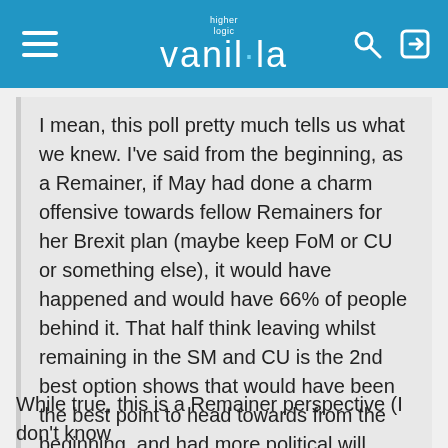higher logic vanilla
I mean, this poll pretty much tells us what we knew. I've said from the beginning, as a Remainer, if May had done a charm offensive towards fellow Remainers for her Brexit plan (maybe keep FoM or CU or something else), it would have happened and would have 66% of people behind it. That half think leaving whilst remaining in the SM and CU is the 2nd best option shows that would have been the best point to head towards from the beginning, and had more political will been put to reach across that divide, more Remainers would probably have willingly backed it. By going for the hardest of Brexits, many Remainers have also entrenched themselves to staying. On a 52/48 margin that was always going to be the case.
While true, this is a Remainer perspective (I don't know